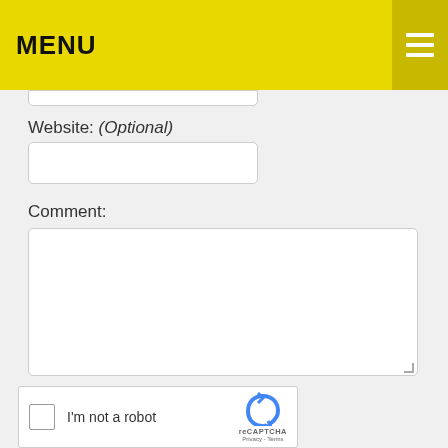MENU
Website: (Optional)
Comment:
[Figure (screenshot): reCAPTCHA widget with checkbox 'I'm not a robot' and reCAPTCHA logo with Privacy and Terms links]
POST COMMENT
[Figure (photo): Black and white photo of bicycle wheels and legs at the bottom of the page]